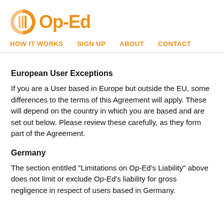Op-Ed
HOW IT WORKS  SIGN UP  ABOUT  CONTACT
European User Exceptions
If you are a User based in Europe but outside the EU, some differences to the terms of this Agreement will apply. These will depend on the country in which you are based and are set out below. Please review these carefully, as they form part of the Agreement.
Germany
The section entitled "Limitations on Op-Ed's Liability" above does not limit or exclude Op-Ed's liability for gross negligence in respect of users based in Germany.